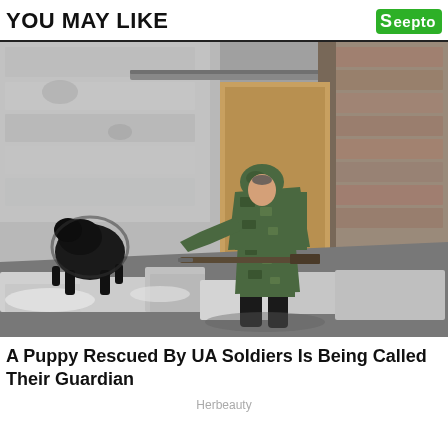YOU MAY LIKE
[Figure (photo): A soldier in camouflage uniform and helmet sitting on rubble in a destroyed building, interacting with a black dog/puppy. The setting appears to be a war-damaged structure with broken concrete blocks and debris.]
A Puppy Rescued By UA Soldiers Is Being Called Their Guardian
Herbeauty